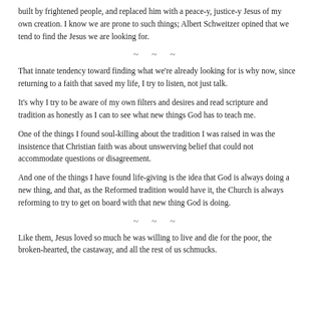built by frightened people, and replaced him with a peace-y, justice-y Jesus of my own creation. I know we are prone to such things; Albert Schweitzer opined that we tend to find the Jesus we are looking for.
~ ~ ~
That innate tendency toward finding what we're already looking for is why now, since returning to a faith that saved my life, I try to listen, not just talk.
It's why I try to be aware of my own filters and desires and read scripture and tradition as honestly as I can to see what new things God has to teach me.
One of the things I found soul-killing about the tradition I was raised in was the insistence that Christian faith was about unswerving belief that could not accommodate questions or disagreement.
And one of the things I have found life-giving is the idea that God is always doing a new thing, and that, as the Reformed tradition would have it, the Church is always reforming to try to get on board with that new thing God is doing.
~ ~ ~
Like them, Jesus loved so much he was willing to live and die for the poor, the broken-hearted, the castaway, and all the rest of us schmucks.